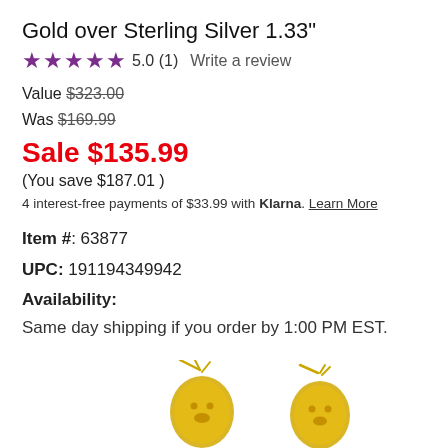Gold over Sterling Silver 1.33"
★★★★★ 5.0 (1)  Write a review
Value $323.00
Was $169.99
Sale $135.99
(You save $187.01 )
4 interest-free payments of $33.99 with Klarna. Learn More
Item #: 63877
UPC: 191194349942
Availability:
Same day shipping if you order by 1:00 PM EST.
[Figure (photo): Partial view of gold jewelry pieces (earrings) at the bottom of the page]